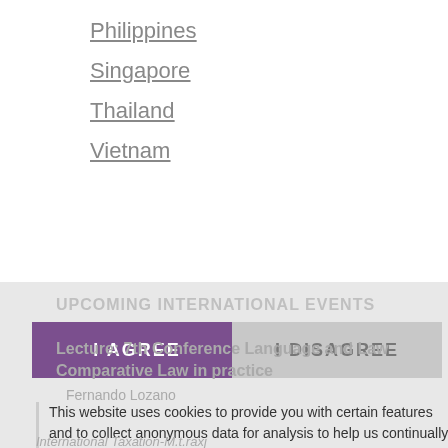Philippines
Singapore
Thailand
Vietnam
UPCOMING INTERNATIONAL EVENTS
Lecture: 7th Conference Language and Law Comparative Law in practice
Fernando Lozano
This website uses cookies to provide you with certain features and to collect anonymous data for analysis to help us continually improve our website and make it more user-friendly. Third party cookies are also used for this
International Taxation-M.t.raxj